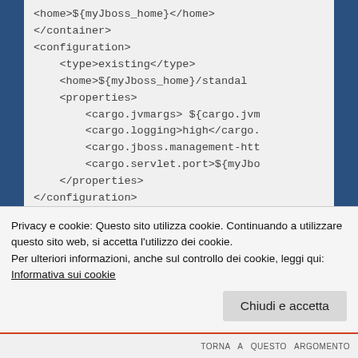<home>${myJboss_home}</home>
</container>
<configuration>
    <type>existing</type>
    <home>${myJboss_home}/standal
    <properties>
        <cargo.jvmargs> ${cargo.jvm
        <cargo.logging>high</cargo.
        <cargo.jboss.management-htt
        <cargo.servlet.port>${myJbo
    </properties>
</configuration>
<deployer>
    <type>installed</type>
</deployer>
Privacy e cookie: Questo sito utilizza cookie. Continuando a utilizzare questo sito web, si accetta l'utilizzo dei cookie.
Per ulteriori informazioni, anche sul controllo dei cookie, leggi qui:
Informativa sui cookie